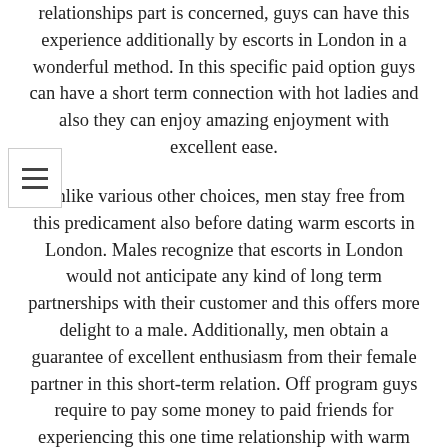relationships part is concerned, guys can have this experience additionally by escorts in London in a wonderful method. In this specific paid option guys can have a short term connection with hot ladies and also they can enjoy amazing enjoyment with excellent ease.
Unlike various other choices, men stay free from this predicament also before dating warm escorts in London. Males recognize that escorts in London would not anticipate any kind of long term partnerships with their customer and this offers more delight to a male. Additionally, men obtain a guarantee of excellent enthusiasm from their female partner in this short-term relation. Off program guys require to pay some money to paid friends for experiencing this one time relationship with warm women, however that is totally acceptable for several males. Many men do rule out this as a loss of loan due to the fact that they feel fantastic